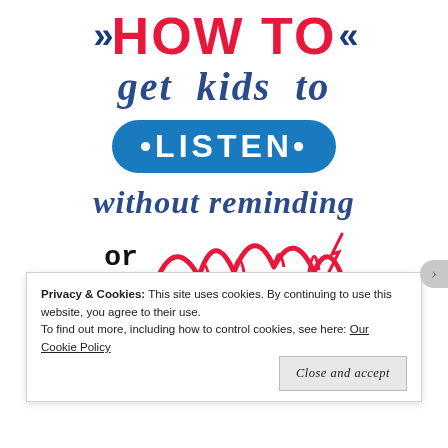[Figure (infographic): Decorative title graphic: 'HOW TO get kids to LISTEN without reminding or nagging' with colorful stylized text, chevron arrows, blue oval badge for LISTEN, and a red squiggly nagging illustration]
Privacy & Cookies: This site uses cookies. By continuing to use this website, you agree to their use.
To find out more, including how to control cookies, see here: Our Cookie Policy
Close and accept